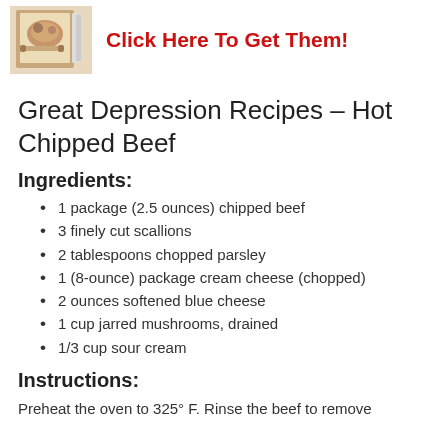[Figure (photo): Book cover image of a recipe book with food items]
Click Here To Get Them!
Great Depression Recipes – Hot Chipped Beef
Ingredients:
1 package (2.5 ounces) chipped beef
3 finely cut scallions
2 tablespoons chopped parsley
1 (8-ounce) package cream cheese (chopped)
2 ounces softened blue cheese
1 cup jarred mushrooms, drained
1/3 cup sour cream
Instructions:
Preheat the oven to 325° F. Rinse the beef to remove